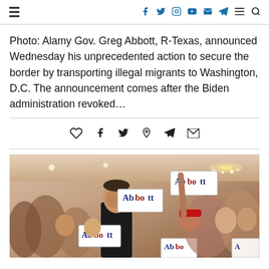Navigation and social icons header bar
Photo: Alamy Gov. Greg Abbott, R-Texas, announced Wednesday his unprecedented action to secure the border by transporting illegal migrants to Washington, D.C. The announcement comes after the Biden administration revoked…
[Figure (other): Share bar with heart, facebook, twitter, pinterest, telegram, and email icons]
[Figure (photo): Photo of Gov. Greg Abbott at a campaign rally with supporters holding Abbott campaign signs, chandelier visible in background]